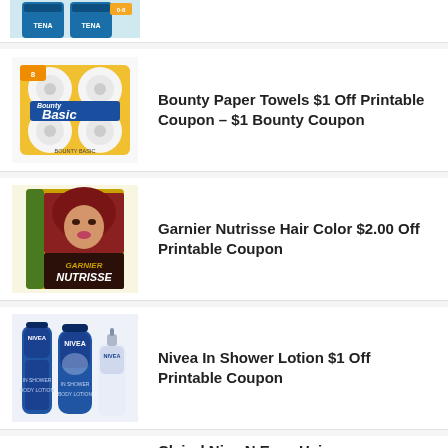[Figure (photo): Partial view of product at top of page (cut off)]
[Figure (photo): Bounty Basic 8-pack paper towels product image]
Bounty Paper Towels $1 Off Printable Coupon – $1 Bounty Coupon
[Figure (photo): Garnier Nutrisse Hair Color box with model]
Garnier Nutrisse Hair Color $2.00 Off Printable Coupon
[Figure (photo): Nivea In Shower Lotion three bottles]
Nivea In Shower Lotion $1 Off Printable Coupon
Clairol Nice N Easy Hair...